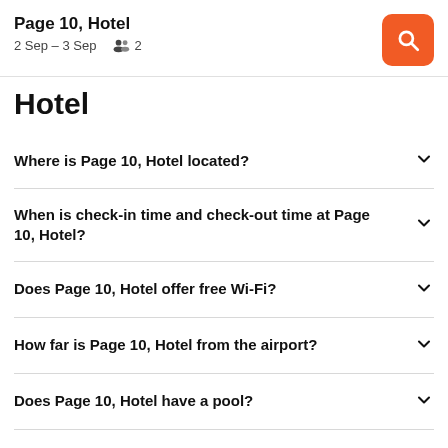Page 10, Hotel · 2 Sep – 3 Sep · 2
Hotel
Where is Page 10, Hotel located?
When is check-in time and check-out time at Page 10, Hotel?
Does Page 10, Hotel offer free Wi-Fi?
How far is Page 10, Hotel from the airport?
Does Page 10, Hotel have a pool?
How does KAYAK find such great Page 10, Hotel hotel deals?